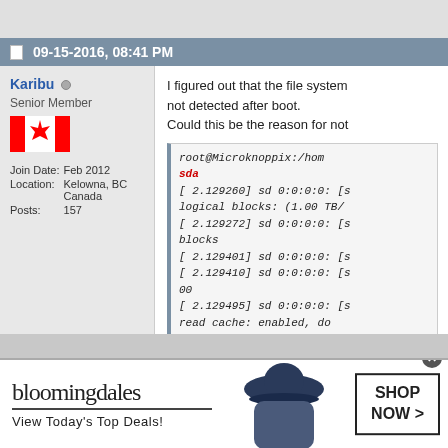09-15-2016, 08:41 PM
Karibu
Senior Member
Join Date: Feb 2012
Location: Kelowna, BC Canada
Posts: 157
I figured out that the file system not detected after boot. Could this be the reason for not...
root@Microknoppix:/hom
sda
[ 2.129260] sd 0:0:0:0: [s
logical blocks: (1.00 TB/
[ 2.129272] sd 0:0:0:0: [s
blocks
[ 2.129401] sd 0:0:0:0: [s
[ 2.129410] sd 0:0:0:0: [s
00
[ 2.129495] sd 0:0:0:0: [s
read cache: enabled, do
[ 2.185077] sda: sda1 sc
sda7 >
[ 2.187010] sd 0:0:0:0: [s
[ 14.236758] Adding 409
Priority:-1 extents:1 acro
bloomingdales
View Today's Top Deals!
SHOP NOW >